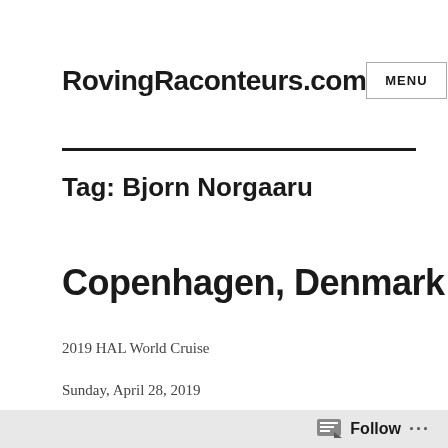RovingRaconteurs.com
Tag: Bjorn Norgaaru
Copenhagen, Denmark
2019 HAL World Cruise
Sunday, April 28, 2019
Follow